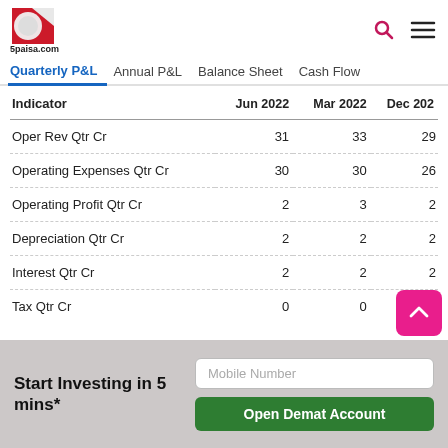[Figure (logo): 5paisa.com logo with red and white card design]
| Indicator | Jun 2022 | Mar 2022 | Dec 202 |
| --- | --- | --- | --- |
| Oper Rev Qtr Cr | 31 | 33 | 29 |
| Operating Expenses Qtr Cr | 30 | 30 | 26 |
| Operating Profit Qtr Cr | 2 | 3 | 2 |
| Depreciation Qtr Cr | 2 | 2 | 2 |
| Interest Qtr Cr | 2 | 2 | 2 |
| Tax Qtr Cr | 0 | 0 | 0 |
Start Investing in 5 mins*
Mobile Number
Open Demat Account